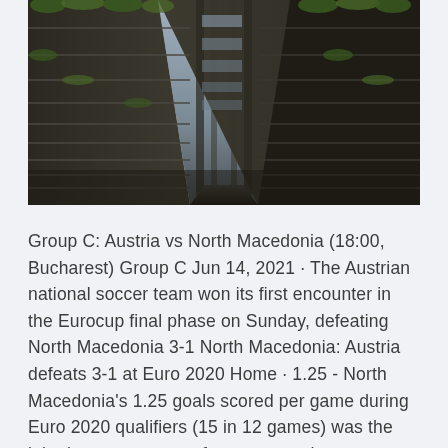[Figure (photo): Upward-looking photograph of a tall concrete building with balconies and green ivy/plants growing on the facade, creating a symmetrical corridor effect looking up toward the sky]
Group C: Austria vs North Macedonia (18:00, Bucharest) Group C Jun 14, 2021 · The Austrian national soccer team won its first encounter in the Eurocup final phase on Sunday, defeating North Macedonia 3-1 North Macedonia: Austria defeats 3-1 at Euro 2020 Home · 1.25 - North Macedonia's 1.25 goals scored per game during Euro 2020 qualifiers (15 in 12 games) was the joint-lowest average of any team to have qualified for the finals, alongside Wales · Euro 2020 live score and updates from Day 3: Austria take on North Macedonia in the first Group C fixture at the National